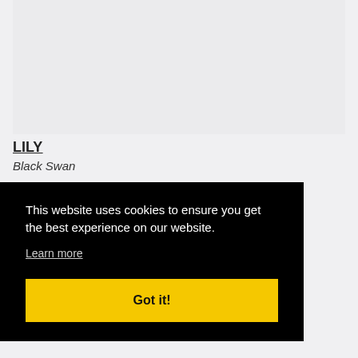[Figure (photo): Light grey placeholder image area at the top of the page]
LILY
Black Swan
This website uses cookies to ensure you get the best experience on our website.
Learn more
Got it!